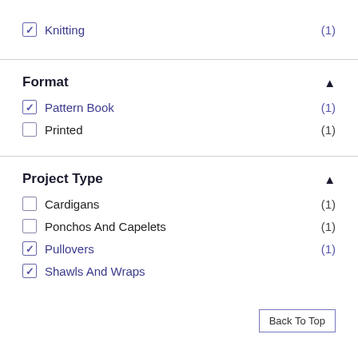✓ Knitting (1)
Format
✓ Pattern Book (1)
☐ Printed (1)
Project Type
☐ Cardigans (1)
☐ Ponchos And Capelets (1)
✓ Pullovers (1)
✓ Shawls And Wraps (1)
Back To Top